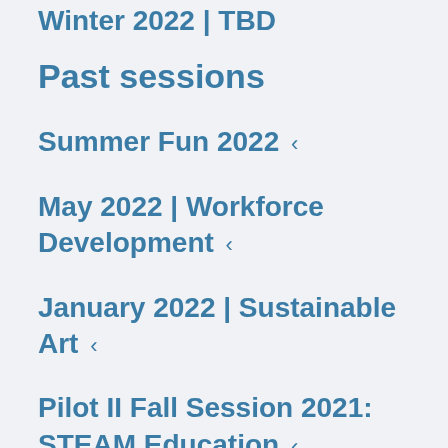Winter 2022 | TBD
Past sessions
Summer Fun 2022
May 2022 | Workforce Development
January 2022 | Sustainable Art
Pilot II Fall Session 2021: STEAM Education
Pilot I Summer Session 2021: Everyday